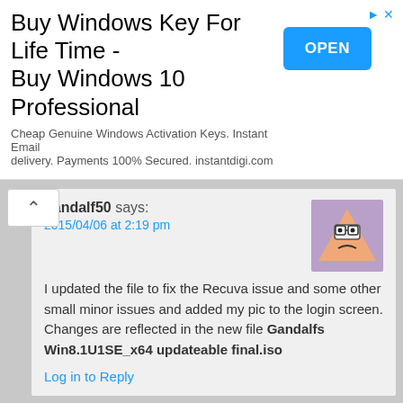[Figure (screenshot): Advertisement banner: Buy Windows Key For Life Time - Buy Windows 10 Professional. Cheap Genuine Windows Activation Keys. Instant Email delivery. Payments 100% Secured. instantdigi.com. With OPEN button.]
gandalf50 says:
2015/04/06 at 2:19 pm
I updated the file to fix the Recuva issue and some other small minor issues and added my pic to the login screen. Changes are reflected in the new file Gandalfs Win8.1U1SE_x64 updateable final.iso
Log in to Reply
[Figure (illustration): Avatar icon: cartoon triangle character with glasses and a frown on purple/pink background]
Amadeu Venturini says:
2015/04/06 at 4:39 am
I downloaded a x64Br version and in logon appears a black screen and a mouse pointer only, problem... I'm going download this version now...
[Figure (illustration): Avatar icon: blue hoodie/sweatshirt on white background]